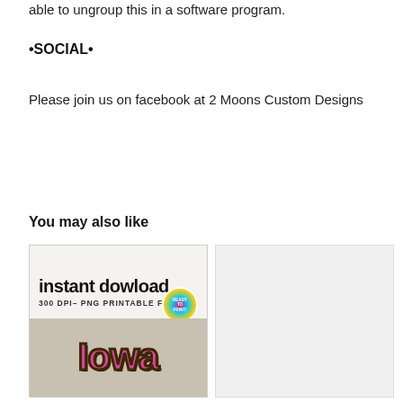able to ungroup this in a software program.
•SOCIAL•
Please join us on facebook at 2 Moons Custom Designs
You may also like
[Figure (photo): Product image showing 'instant download' text with '300 DPI - PNG PRINTABLE FILE' subtitle, a colorful 'Ready to Print' badge, and a pink glittery 'Iowa' word art on a rustic background]
[Figure (photo): Light gray/white blank product image placeholder]